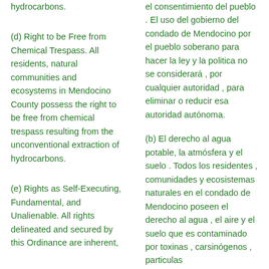hydrocarbons.
(d) Right to be Free from Chemical Trespass. All residents, natural communities and ecosystems in Mendocino County possess the right to be free from chemical trespass resulting from the unconventional extraction of hydrocarbons.
(e) Rights as Self-Executing, Fundamental, and Unalienable. All rights delineated and secured by this Ordinance are inherent,
el consentimiento del pueblo . El uso del gobierno del condado de Mendocino por el pueblo soberano para hacer la ley y la politica no se considerará , por cualquier autoridad , para eliminar o reducir esa autoridad autónoma.
(b) El derecho al agua potable, la atmósfera y el suelo . Todos los residentes , comunidades y ecosistemas naturales en el condado de Mendocino poseen el derecho al agua , el aire y el suelo que es contaminado por toxinas , carsinógenos , particulas